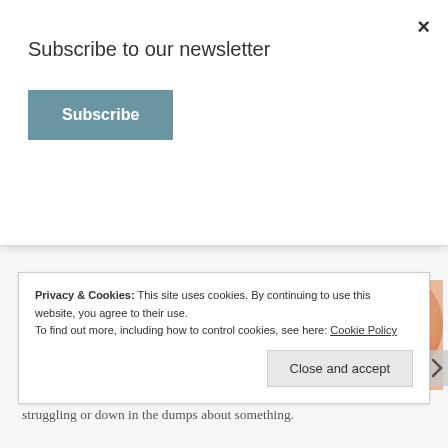Subscribe to our newsletter
Subscribe
[Figure (photo): Close-up photo of a human ear, skin tones of peach and orange]
something else or what you’re going to say to negate what they’re saying...#guilty), stop thinking and really pay attention.
2. Encourage your spouse. Especially when you know they’re struggling or down in the dumps about something.
Privacy & Cookies: This site uses cookies. By continuing to use this website, you agree to their use.
To find out more, including how to control cookies, see here: Cookie Policy
Close and accept